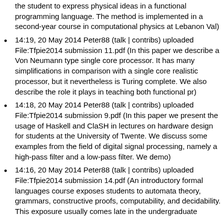the student to express physical ideas in a functional programming language. The method is implemented in a second-year course in computational physics at Lebanon Val)
14:19, 20 May 2014 Peter88 (talk | contribs) uploaded File:Tfpie2014 submission 11.pdf (In this paper we describe a Von Neumann type single core processor. It has many simplifications in comparison with a single core realistic processor, but it nevertheless is Turing complete. We also describe the role it plays in teaching both functional pr)
14:18, 20 May 2014 Peter88 (talk | contribs) uploaded File:Tfpie2014 submission 9.pdf (In this paper we present the usage of Haskell and ClaSH in lectures on hardware design for students at the University of Twente. We discuss some examples from the field of digital signal processing, namely a high-pass filter and a low-pass filter. We demo)
14:16, 20 May 2014 Peter88 (talk | contribs) uploaded File:Tfpie2014 submission 14.pdf (An introductory formal languages course exposes students to automata theory, grammars, constructive proofs, computability, and decidability. This exposure usually comes late in the undergraduate